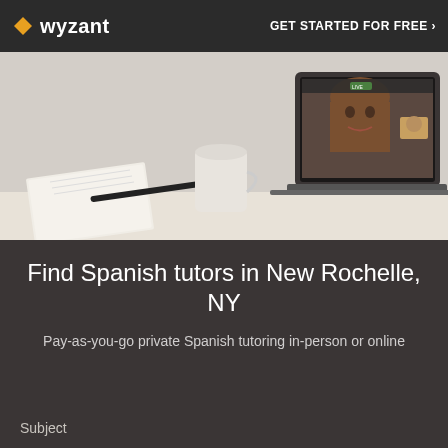wyzant  GET STARTED FOR FREE ›
[Figure (photo): Photo of a laptop on a desk displaying a video tutoring session with a smiling woman, alongside a notebook, pen, and coffee mug on a white brick background.]
Find Spanish tutors in New Rochelle, NY
Pay-as-you-go private Spanish tutoring in-person or online
Subject